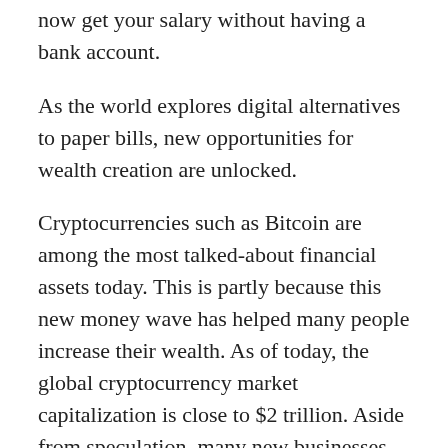now get your salary without having a bank account.
As the world explores digital alternatives to paper bills, new opportunities for wealth creation are unlocked.
Cryptocurrencies such as Bitcoin are among the most talked-about financial assets today. This is partly because this new money wave has helped many people increase their wealth. As of today, the global cryptocurrency market capitalization is close to $2 trillion. Aside from speculation, many new businesses and jobs have sprung out from this growing industry. Notable examples are exchange and trading platforms such as Patricia, FTX and Roqqu. Also, blockchain experts are now in higher demand than ever before.
Nigeria, Africa’s largest economy, is not left out of this movement, as it is recognized as Africa’s largest cryptocurrency market. It has now generated…